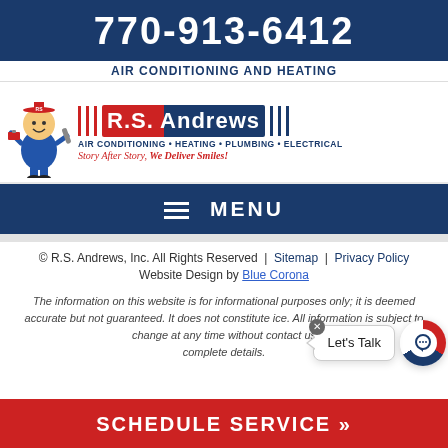770-913-6412
AIR CONDITIONING AND HEATING
[Figure (logo): R.S. Andrews logo with mascot character in blue overalls carrying tools and a toolbox, company name in red and blue, tagline: AIR CONDITIONING · HEATING · PLUMBING · ELECTRICAL, Story After Story, We Deliver Smiles!]
MENU
© R.S. Andrews, Inc. All Rights Reserved | Sitemap | Privacy Policy
Website Design by Blue Corona
The information on this website is for informational purposes only; it is deemed accurate but not guaranteed. It does not constitute legal advice. All information is subject to change at any time without notice. Contact us for complete details.
SCHEDULE SERVICE »